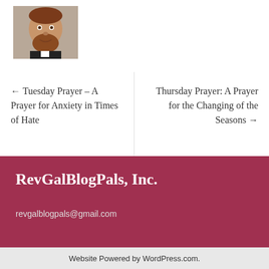[Figure (photo): Small portrait photo of a man with a beard wearing clergy attire]
← Tuesday Prayer – A Prayer for Anxiety in Times of Hate
Thursday Prayer: A Prayer for the Changing of the Seasons →
RevGalBlogPals, Inc.
revgalblogpals@gmail.com
Website Powered by WordPress.com.